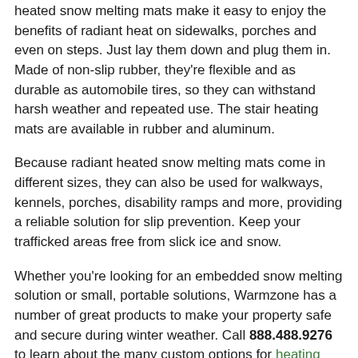heated snow melting mats make it easy to enjoy the benefits of radiant heat on sidewalks, porches and even on steps. Just lay them down and plug them in. Made of non-slip rubber, they're flexible and as durable as automobile tires, so they can withstand harsh weather and repeated use. The stair heating mats are available in rubber and aluminum.
Because radiant heated snow melting mats come in different sizes, they can also be used for walkways, kennels, porches, disability ramps and more, providing a reliable solution for slip prevention. Keep your trafficked areas free from slick ice and snow.
Whether you're looking for an embedded snow melting solution or small, portable solutions, Warmzone has a number of great products to make your property safe and secure during winter weather. Call 888.488.9276 to learn about the many custom options for heating floors as well as exterior snow melting solutions.